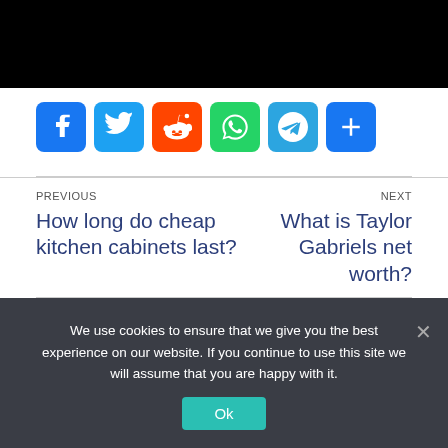[Figure (screenshot): Black bar at top of page, cropped image area]
[Figure (infographic): Social share buttons: Facebook, Twitter, Reddit, WhatsApp, Telegram, More]
PREVIOUS
How long do cheap kitchen cabinets last?
NEXT
What is Taylor Gabriels net worth?
We use cookies to ensure that we give you the best experience on our website. If you continue to use this site we will assume that you are happy with it.
Ok